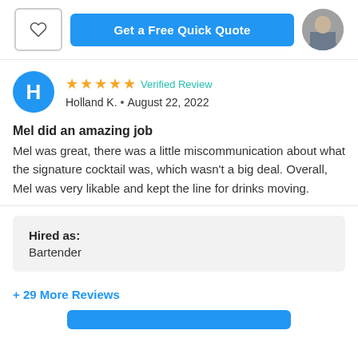Get a Free Quick Quote
★★★★★ Verified Review
Holland K. • August 22, 2022
Mel did an amazing job
Mel was great, there was a little miscommunication about what the signature cocktail was, which wasn't a big deal. Overall, Mel was very likable and kept the line for drinks moving.
Hired as:
Bartender
+ 29 More Reviews